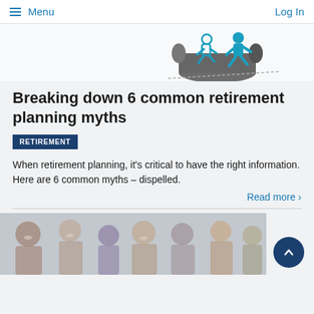Menu   Log In
[Figure (illustration): Person on a treadmill/rolling log illustration in teal and dark gray, depicting someone running on a cylinder shape]
Breaking down 6 common retirement planning myths
RETIREMENT
When retirement planning, it's critical to have the right information. Here are 6 common myths – dispelled.
Read more >
[Figure (photo): Group of people smiling and laughing together, multigenerational family gathering]